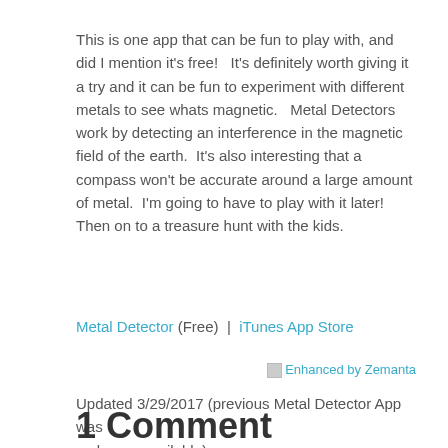This is one app that can be fun to play with, and did I mention it's free!   It's definitely worth giving it a try and it can be fun to experiment with different metals to see whats magnetic.   Metal Detectors work by detecting an interference in the magnetic field of the earth.  It's also interesting that a compass won't be accurate around a large amount of metal.  I'm going to have to play with it later! Then on to a treasure hunt with the kids.
Metal Detector (Free) | iTunes App Store
[Figure (other): Enhanced by Zemanta badge/icon with link]
Updated 3/29/2017 (previous Metal Detector App was no longer available)
1 Comment
1.
[Figure (other): Generic user avatar placeholder image — grey silhouette of a person on lighter grey background]